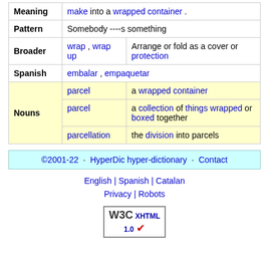|  |  |  |
| --- | --- | --- |
| Meaning | make into a wrapped container . |  |
| Pattern | Somebody ----s something |  |
| Broader | wrap , wrap up | Arrange or fold as a cover or protection |
| Spanish | embalar , empaquetar |  |
| Nouns | parcel | a wrapped container |
| Nouns | parcel | a collection of things wrapped or boxed together |
| Nouns | parcellation | the division into parcels |
©2001-22 · HyperDic hyper-dictionary · Contact
English | Spanish | Catalan
Privacy | Robots